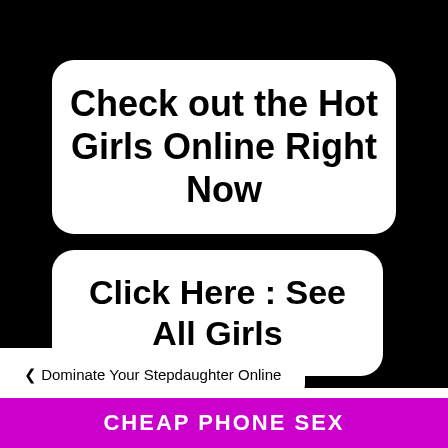Check out the Hot Girls Online Right Now
Click Here : See All Girls
< Dominate Your Stepdaughter Online
Stepbrother and Stepsister Phone Sex >
CHEAP PHONE SEX